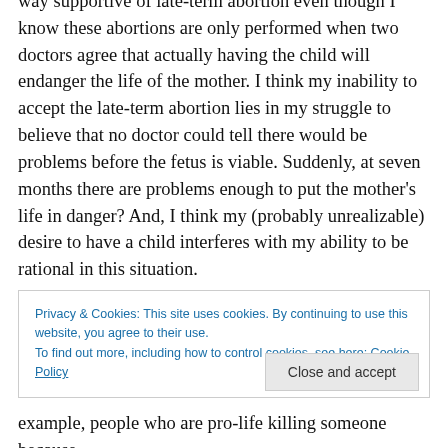way supportive of late-term abortion even though I know these abortions are only performed when two doctors agree that actually having the child will endanger the life of the mother. I think my inability to accept the late-term abortion lies in my struggle to believe that no doctor could tell there would be problems before the fetus is viable. Suddenly, at seven months there are problems enough to put the mother's life in danger? And, I think my (probably unrealizable) desire to have a child interferes with my ability to be rational in this situation.
Privacy & Cookies: This site uses cookies. By continuing to use this website, you agree to their use. To find out more, including how to control cookies, see here: Cookie Policy
Close and accept
example, people who are pro-life killing someone because